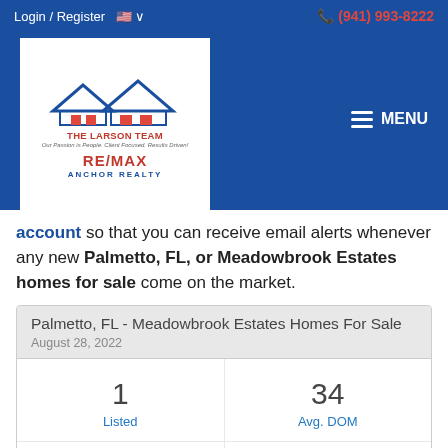[Figure (logo): The Larson Team RE/MAX Anchor Realty logo with house roofline graphic, navigation bar with Login/Register, flag, phone number (941) 993-8222, and MENU button on blue background]
account so that you can receive email alerts whenever any new Palmetto, FL, or Meadowbrook Estates homes for sale come on the market.
| Palmetto, FL - Meadowbrook Estates Homes For Sale |  |
| --- | --- |
| 1
Listed | 34
Avg. DOM |
| $280.83
Avg. $ / Sq.Ft. | $364,800
Med. List Price |